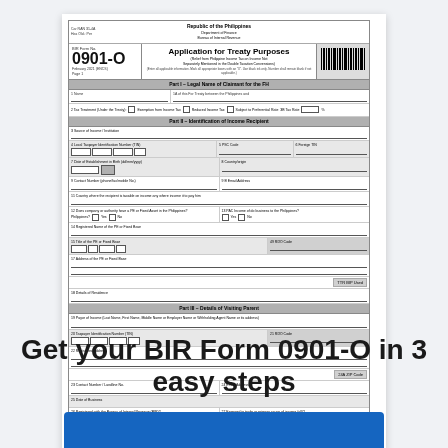[Figure (other): BIR Form 0901-O - Application for Treaty Purposes (Relief from Philippine Income Tax on Income Not Separately Mentioned in the Double Tax Treaty Convensions), February 2021 version, Page 1. Government tax form with multiple sections including Part I Legal Name of Claimant for the FH, Part II Identification of Income Recipient, and Part III Details of Visiting Parent. Contains fields for taxpayer information, checkboxes, and a barcode in the upper right.]
Get your BIR Form 0901-O in 3 easy steps